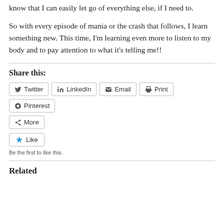know that I can easily let go of everything else, if I need to.
So with every episode of mania or the crash that follows, I learn something new. This time, I'm learning even more to listen to my body and to pay attention to what it's telling me!!
Share this:
Twitter
LinkedIn
Email
Print
Pinterest
More
Like
Be the first to like this.
Related